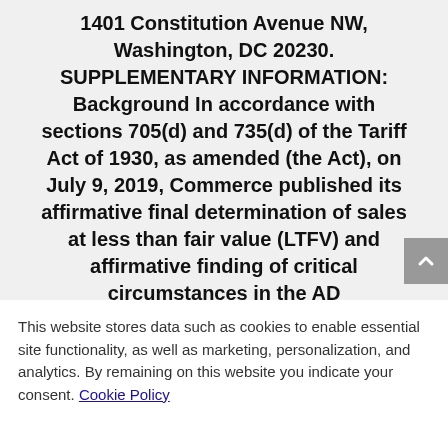1401 Constitution Avenue NW, Washington, DC 20230. SUPPLEMENTARY INFORMATION: Background In accordance with sections 705(d) and 735(d) of the Tariff Act of 1930, as amended (the Act), on July 9, 2019, Commerce published its affirmative final determination of sales at less than fair value (LTFV) and affirmative finding of critical circumstances in the AD
This website stores data such as cookies to enable essential site functionality, as well as marketing, personalization, and analytics. By remaining on this website you indicate your consent. Cookie Policy